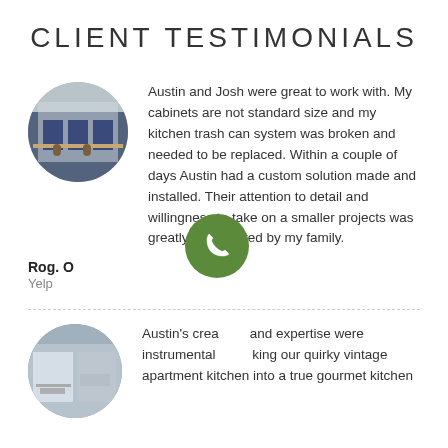CLIENT TESTIMONIALS
[Figure (photo): Circular avatar photo showing a kitchen interior with blue cabinets and bar stools]
Austin and Josh were great to work with. My cabinets are not standard size and my kitchen trash can system was broken and needed to be replaced.  Within a couple of days Austin had a custom solution made and installed. Their attention to detail and willingness to take on a smaller projects was greatly appreciated by my family.
Rog. O
Yelp
[Figure (photo): Circular avatar photo showing a kitchen interior with light-colored walls and workspace]
Austin's creativity and expertise were instrumental in making our quirky vintage apartment kitchen into a true gourmet kitchen
[Figure (other): Green circular phone call button overlay]